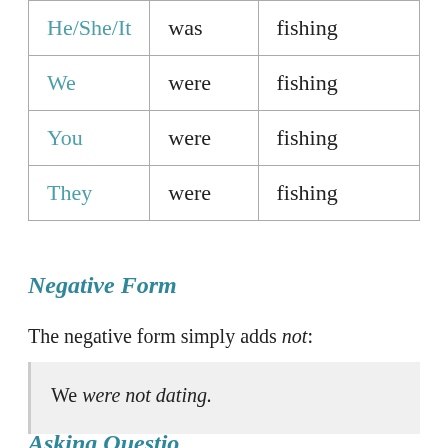| He/She/It | was | fishing |
| We | were | fishing |
| You | were | fishing |
| They | were | fishing |
Negative Form
The negative form simply adds not:
We were not dating.
Asking Questio...